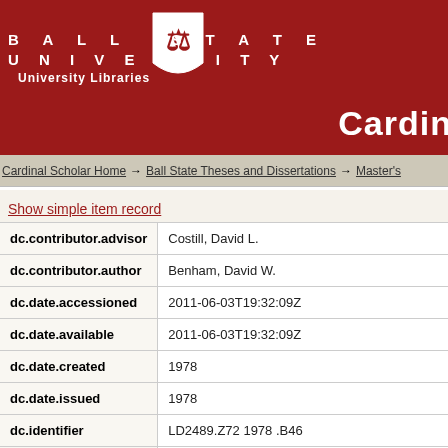BALL STATE UNIVERSITY University Libraries Cardinal Scholar
Cardinal Scholar Home → Ball State Theses and Dissertations → Master's
Show simple item record
| Field | Value |
| --- | --- |
| dc.contributor.advisor | Costill, David L. |
| dc.contributor.author | Benham, David W. |
| dc.date.accessioned | 2011-06-03T19:32:09Z |
| dc.date.available | 2011-06-03T19:32:09Z |
| dc.date.created | 1978 |
| dc.date.issued | 1978 |
| dc.identifier | LD2489.Z72 1978 .B46 |
| dc.identifier.uri | http://cardinalscholar.bsu.edu/handle/handle/18 |